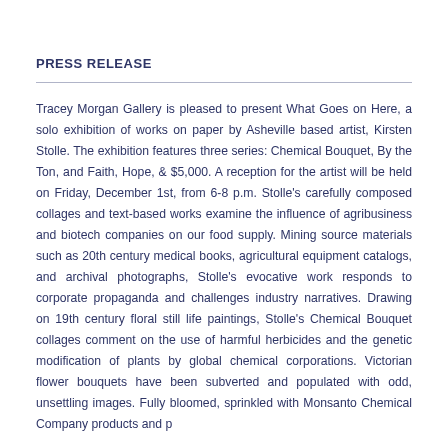PRESS RELEASE
Tracey Morgan Gallery is pleased to present What Goes on Here, a solo exhibition of works on paper by Asheville based artist, Kirsten Stolle. The exhibition features three series: Chemical Bouquet, By the Ton, and Faith, Hope, & $5,000. A reception for the artist will be held on Friday, December 1st, from 6-8 p.m. Stolle's carefully composed collages and text-based works examine the influence of agribusiness and biotech companies on our food supply. Mining source materials such as 20th century medical books, agricultural equipment catalogs, and archival photographs, Stolle's evocative work responds to corporate propaganda and challenges industry narratives. Drawing on 19th century floral still life paintings, Stolle's Chemical Bouquet collages comment on the use of harmful herbicides and the genetic modification of plants by global chemical corporations. Victorian flower bouquets have been subverted and populated with odd, unsettling images. Fully bloomed, sprinkled with Monsanto Chemical Company products...